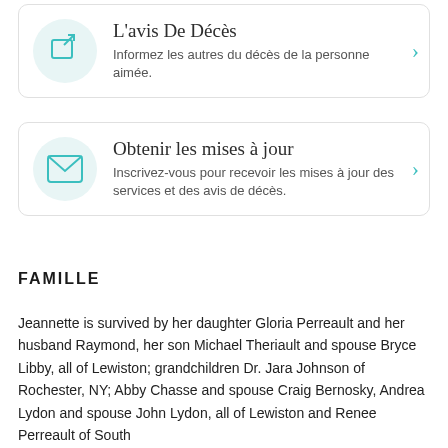L'avis De Décès — Informez les autres du décès de la personne aimée.
Obtenir les mises à jour — Inscrivez-vous pour recevoir les mises à jour des services et des avis de décès.
FAMILLE
Jeannette is survived by her daughter Gloria Perreault and her husband Raymond, her son Michael Theriault and spouse Bryce Libby, all of Lewiston; grandchildren Dr. Jara Johnson of Rochester, NY; Abby Chasse and spouse Craig Bernosky, Andrea Lydon and spouse John Lydon, all of Lewiston and Renee Perreault of South